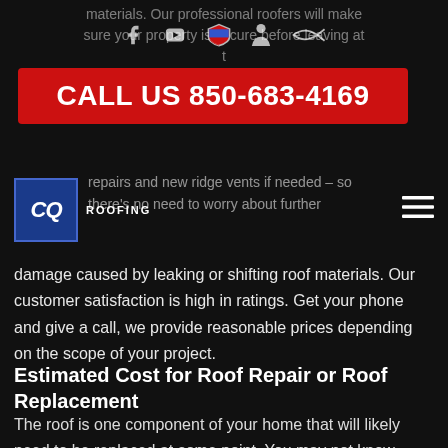materials. Our professional roofers will make sure your property is secure before leaving at t
[Figure (infographic): Social media icons bar: Facebook, YouTube, US patriotic shield, person silhouette, ichthys fish symbol]
[Figure (infographic): Red call-to-action banner reading: CALL US 850-683-4169]
[Figure (logo): CQ Roofing logo: blue square with CQ letters and ROOFING text below]
repairs and new ridge vents if needed – so there's no need to worry about further
damage caused by leaking or shifting roof materials. Our customer satisfaction is high in ratings. Get your phone and give a call, we provide reasonable prices depending on the scope of your project.
Estimated Cost for Roof Repair or Roof Replacement
The roof is one component of your home that will likely need to be replaced at some point. You may not know what it entails or how